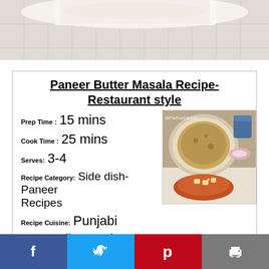[Figure (photo): Top portion of a food dish photo, white baking dish on tiled surface]
Paneer Butter Masala Recipe-Restaurant style
Prep Time : 15 mins
Cook Time : 25 mins
Serves: 3-4
Recipe Category: Side dish-Paneer Recipes
[Figure (photo): Food photo showing paneer butter masala curry in a bowl with roti/bread, onion rings, and a drink, watermarked @PadhusKitchen]
Recipe Cuisine: Punjabi
Author: Padhu Sankar
[Figure (infographic): Social sharing bar with Facebook, Twitter, Pinterest, and print buttons]